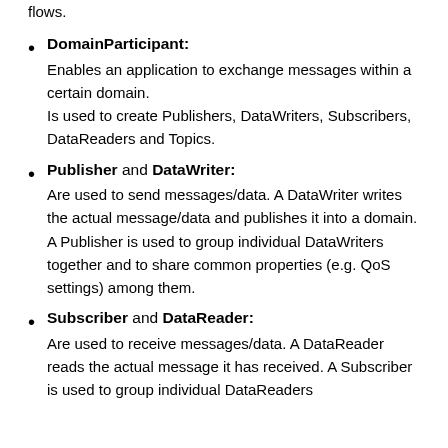flows.
DomainParticipant: Enables an application to exchange messages within a certain domain. Is used to create Publishers, DataWriters, Subscribers, DataReaders and Topics.
Publisher and DataWriter: Are used to send messages/data. A DataWriter writes the actual message/data and publishes it into a domain. A Publisher is used to group individual DataWriters together and to share common properties (e.g. QoS settings) among them.
Subscriber and DataReader: Are used to receive messages/data. A DataReader reads the actual message it has received. A Subscriber is used to group individual DataReaders